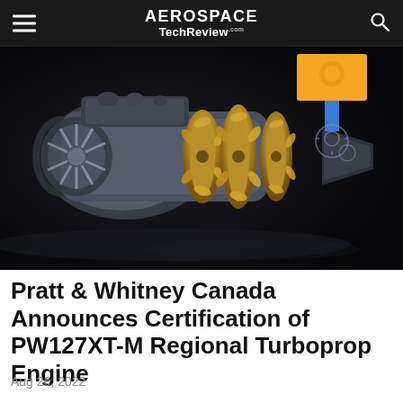AEROSPACE TechReview.com
[Figure (photo): Cutaway/cross-section render of the Pratt & Whitney Canada PW127XT-M turboprop engine on dark background, showing internal gold-colored turbine stages and silver compressor components.]
Pratt & Whitney Canada Announces Certification of PW127XT-M Regional Turboprop Engine
Aug 26, 2022